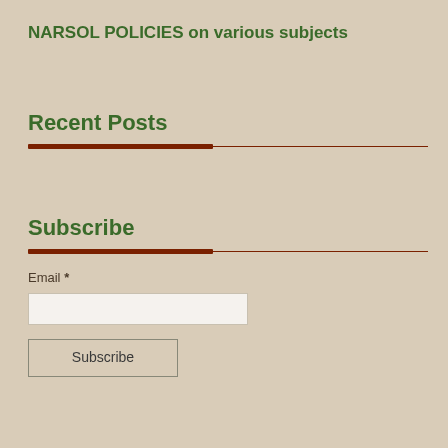NARSOL POLICIES on various subjects
Recent Posts
Subscribe
Email *